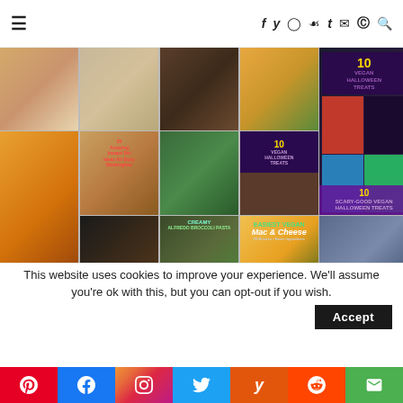≡  f y ⊙ ℗ t ✉ ⊕ 🔍
[Figure (photo): Grid of food photos including pies, cookies, chocolate cookies, stir-fry vegetables, vegan Halloween treats collage, pumpkin bread, instant pot recipe collage, pasta salad bowl, vegan Halloween treats x2, creamy alfredo broccoli pasta, easiest vegan mac and cheese, healthy blueberry tahini oat muffins, brownies, and more food photos]
This website uses cookies to improve your experience. We'll assume you're ok with this, but you can opt-out if you wish.
Accept
Pinterest  Facebook  Instagram  Twitter  Yummly  Reddit  Email